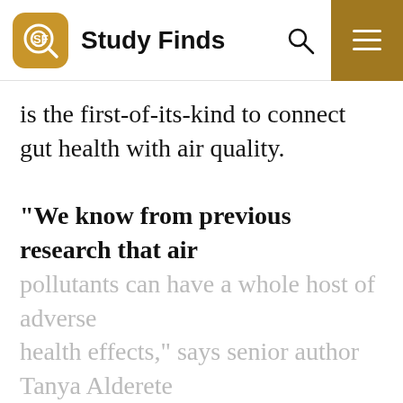Study Finds
is the first-of-its-kind to connect gut health with air quality.
“We know from previous research that air pollutants can have a whole host of adverse health effects,” says senior author Tanya Alderete